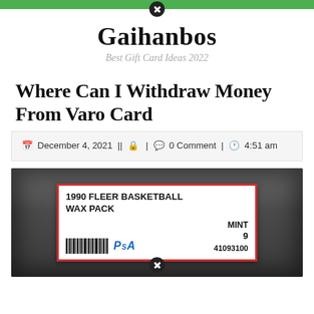Gaihanbos — Best Gift Card Ideas 2022
Where Can I Withdraw Money From Varo Card
December 4, 2021 | | 🔒 | 💬 0 Comment | 🕐 4:51 am
[Figure (photo): PSA graded 1990 Fleer Basketball Wax Pack, MINT 9, cert number 41093100, shown in a protective plastic case]